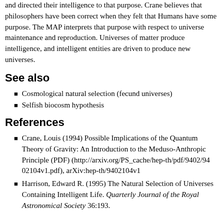and directed their intelligence to that purpose. Crane believes that philosophers have been correct when they felt that Humans have some purpose. The MAP interprets that purpose with respect to universe maintenance and reproduction. Universes of matter produce intelligence, and intelligent entities are driven to produce new universes.
See also
Cosmological natural selection (fecund universes)
Selfish biocosm hypothesis
References
Crane, Louis (1994) Possible Implications of the Quantum Theory of Gravity: An Introduction to the Meduso-Anthropic Principle (PDF) (http://arxiv.org/PS_cache/hep-th/pdf/9402/9402104v1.pdf), arXiv:hep-th/9402104v1
Harrison, Edward R. (1995) The Natural Selection of Universes Containing Intelligent Life. Quarterly Journal of the Royal Astronomical Society 36:193.